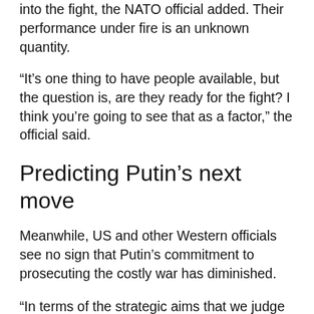into the fight, the NATO official added. Their performance under fire is an unknown quantity.
“It’s one thing to have people available, but the question is, are they ready for the fight? I think you’re going to see that as a factor,” the official said.
Predicting Putin’s next move
Meanwhile, US and other Western officials see no sign that Putin’s commitment to prosecuting the costly war has diminished.
“In terms of the strategic aims that we judge Putin has vis-a-vis Ukraine, I don’t see any signs that those have changed,” the NATO official said. “Putin still believes that eventually he will be successful and will either physically control or will gain a form of political control over Ukraine in